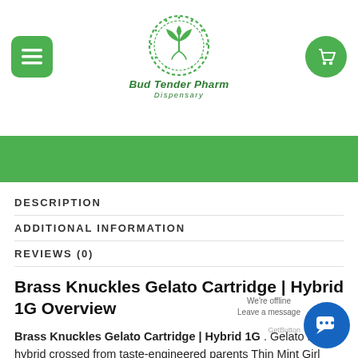[Figure (logo): Bud Tender Pharm Dispensary logo with circular leaf/plant emblem and green text]
DESCRIPTION
ADDITIONAL INFORMATION
REVIEWS (0)
Brass Knuckles Gelato Cartridge | Hybrid 1G Overview
Brass Knuckles Gelato Cartridge | Hybrid 1G . Gelato is a hybrid crossed from taste-engineered parents Thin Mint Girl Scout Cookies and fruity indica Sunset Sherbert. With a balanced, mellow high and a universally appealing flavor profile, this is a great strain for social use. Gelato is known to hit users quickly, sometimes taking effect before they've had